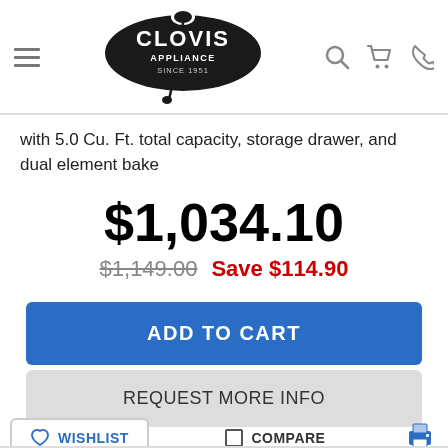[Figure (logo): Clovis Appliance Since 1951 logo — black oval tag shape with white text]
with 5.0 Cu. Ft. total capacity, storage drawer, and dual element bake
$1,034.10
$1,149.00  Save $114.90
ADD TO CART
REQUEST MORE INFO
WISHLIST
COMPARE